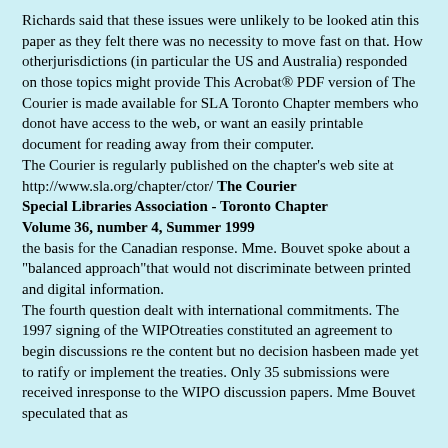Richards said that these issues were unlikely to be looked atin this paper as they felt there was no necessity to move fast on that. How otherjurisdictions (in particular the US and Australia) responded on those topics might provide This Acrobat® PDF version of The Courier is made available for SLA Toronto Chapter members who donot have access to the web, or want an easily printable document for reading away from their computer.
The Courier is regularly published on the chapter's web site at http://www.sla.org/chapter/ctor/ The Courier
Special Libraries Association - Toronto Chapter Volume 36, number 4, Summer 1999
the basis for the Canadian response. Mme. Bouvet spoke about a "balanced approach"that would not discriminate between printed and digital information.
The fourth question dealt with international commitments. The 1997 signing of the WIPOtreaties constituted an agreement to begin discussions re the content but no decision hasbeen made yet to ratify or implement the treaties. Only 35 submissions were received inresponse to the WIPO discussion papers. Mme Bouvet speculated that as